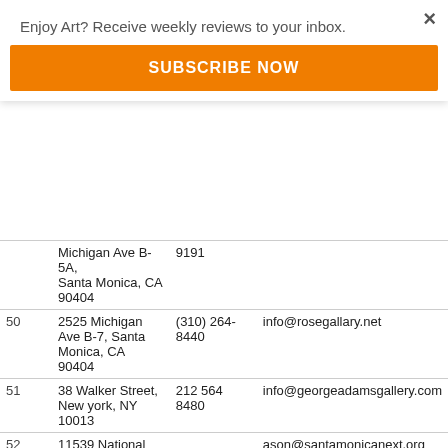Enjoy Art? Receive weekly reviews to your inbox.
SUBSCRIBE NOW
| # | Address | Phone | Email |
| --- | --- | --- | --- |
|  | Michigan Ave B-5A, Santa Monica, CA 90404 | 9191 |  |
| 50 | 2525 Michigan Ave B-7, Santa Monica, CA 90404 | (310) 264-8440 | info@rosegallary.net |
| 51 | 38 Walker Street, New york, NY 10013 | 212 564 8480 | info@georgeadamsgallery.com |
| 52 | 11539 National Boulevard, Los Angeles, CA 90064 |  | ason@santamonicanext.org |
| 53 | 3026 Airport Ave, Santa Monica, CA 90405 | (310) 397-7456 |  |